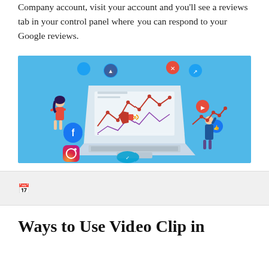Company account, visit your account and you'll see a reviews tab in your control panel where you can respond to your Google reviews.
[Figure (illustration): Digital marketing illustration showing a laptop with social media icons (Facebook, Instagram, Twitter/like buttons), a megaphone, a line chart on screen, and two people interacting with social media — all on a blue background.]
📅
Ways to Use Video Clip in